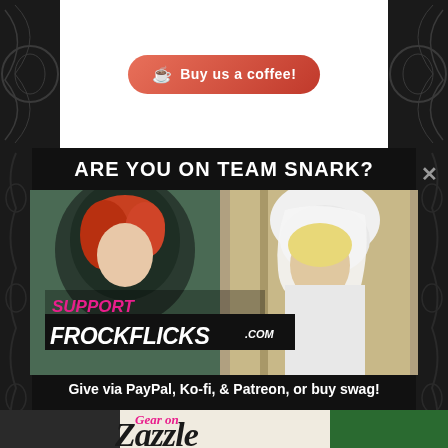[Figure (screenshot): Buy us a coffee button - pink/red button with heart and coffee cup icon]
ARE YOU ON TEAM SNARK?
[Figure (photo): Two women in vintage costumes - one in dark green hood (redhead) and one in white bridal veil, with 'SUPPORT FROCKFLICKS.COM' overlay text]
Give via PayPal, Ko-fi, & Patreon, or buy swag!
[Figure (screenshot): Bottom portion showing 'Gear on Zazzle' promotional banner with t-shirts on hangers]